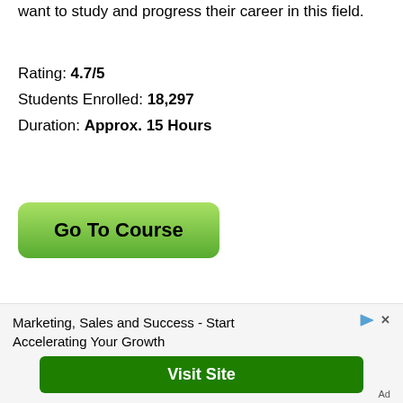want to study and progress their career in this field.
Rating: 4.7/5
Students Enrolled: 18,297
Duration: Approx. 15 Hours
[Figure (other): Green gradient button labeled 'Go To Course']
Inbound Sales Course: Get Certified in
[Figure (other): Advertisement banner: Marketing, Sales and Success - Start Accelerating Your Growth. Green Visit Site button. Ad label in corner.]